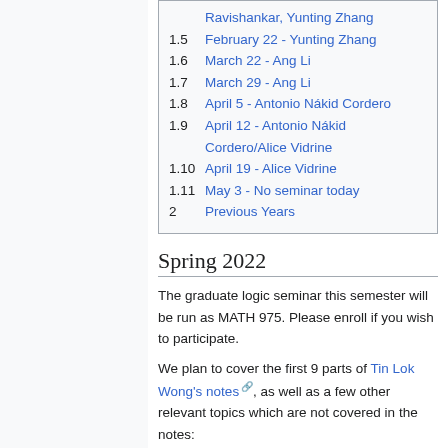Ravishankar, Yunting Zhang
1.5 February 22 - Yunting Zhang
1.6 March 22 - Ang Li
1.7 March 29 - Ang Li
1.8 April 5 - Antonio Nákid Cordero
1.9 April 12 - Antonio Nákid Cordero/Alice Vidrine
1.10 April 19 - Alice Vidrine
1.11 May 3 - No seminar today
2 Previous Years
Spring 2022
The graduate logic seminar this semester will be run as MATH 975. Please enroll if you wish to participate.
We plan to cover the first 9 parts of Tin Lok Wong's notes, as well as a few other relevant topics which are not covered in the notes: